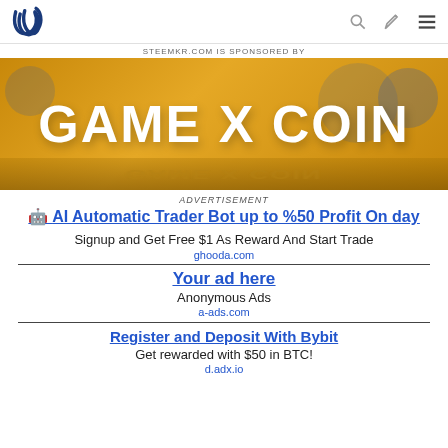Steem logo with navigation icons (search, edit, menu)
STEEMKR.COM IS SPONSORED BY
[Figure (illustration): Game X Coin banner advertisement on golden/yellow background with large white bold text 'GAME X COIN']
ADVERTISEMENT
🤖 AI Automatic Trader Bot up to %50 Profit On day
Signup and Get Free $1 As Reward And Start Trade
ghooda.com
Your ad here
Anonymous Ads
a-ads.com
Register and Deposit With Bybit
Get rewarded with $50 in BTC!
d.adx.io